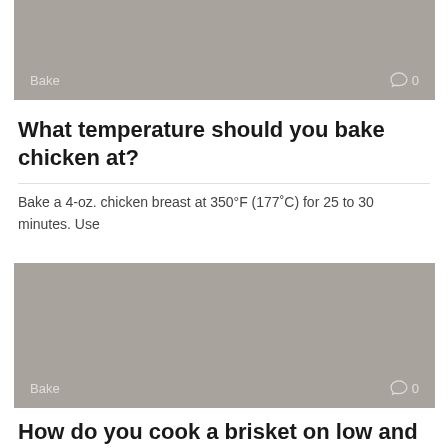[Figure (photo): Gray placeholder image with Bake label and comment count 0 at bottom]
What temperature should you bake chicken at?
Bake a 4-oz. chicken breast at 350°F (177˚C) for 25 to 30 minutes. Use
[Figure (photo): Gray placeholder image with Bake label and comment count 0 at bottom]
How do you cook a brisket on low and slow?